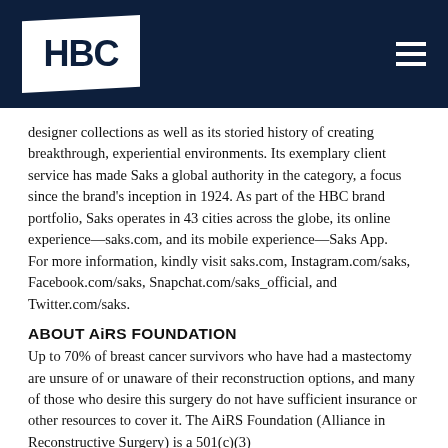HBC
designer collections as well as its storied history of creating breakthrough, experiential environments. Its exemplary client service has made Saks a global authority in the category, a focus since the brand's inception in 1924. As part of the HBC brand portfolio, Saks operates in 43 cities across the globe, its online experience—saks.com, and its mobile experience—Saks App.
For more information, kindly visit saks.com, Instagram.com/saks, Facebook.com/saks, Snapchat.com/saks_official, and Twitter.com/saks.
ABOUT AiRS FOUNDATION
Up to 70% of breast cancer survivors who have had a mastectomy are unsure of or unaware of their reconstruction options, and many of those who desire this surgery do not have sufficient insurance or other resources to cover it. The AiRS Foundation (Alliance in Reconstructive Surgery) is a 501(c)(3)